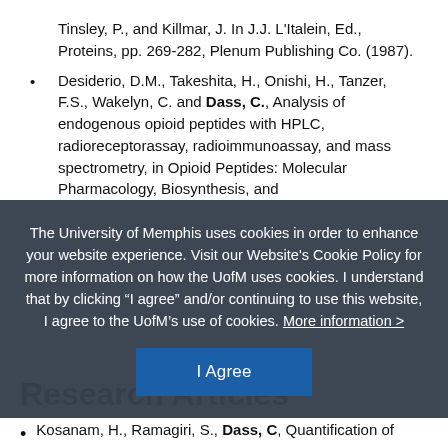Tinsley, P., and Killmar, J. In J.J. L'Italein, Ed., Proteins, pp. 269-282, Plenum Publishing Co. (1987).
Desiderio, D.M., Takeshita, H., Onishi, H., Tanzer, F.S., Wakelyn, C. and Dass, C., Analysis of endogenous opioid peptides with HPLC, radioreceptorassay, radioimmunoassay, and mass spectrometry, in Opioid Peptides: Molecular Pharmacology, Biosynthesis, and
The University of Memphis uses cookies in order to enhance your website experience. Visit our Website's Cookie Policy for more information on how the UofM uses cookies. I understand that by clicking “I agree” and/or continuing to use this website, I agree to the UofM’s use of cookies. More information >
Research Articles
Kosanam, H., Ramagiri, S., Dass, C, Quantification of